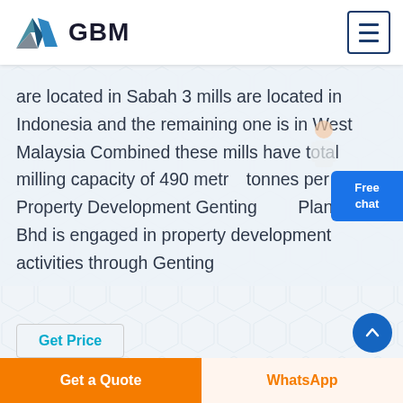GBM
are located in Sabah 3 mills are located in Indonesia and the remaining one is in West Malaysia Combined these mills have total milling capacity of 490 metric tonnes per hour Property Development Genting Plantations Bhd is engaged in property development activities through Genting
Get Price
PlantationsKuala
Get a Quote
WhatsApp